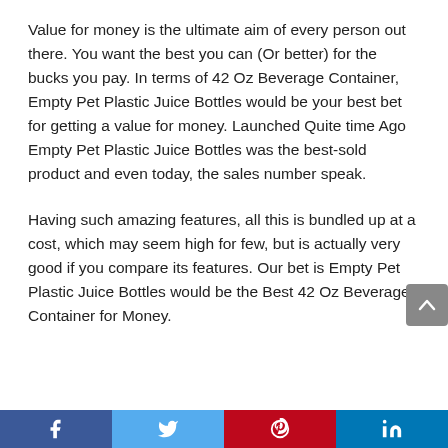Value for money is the ultimate aim of every person out there. You want the best you can (Or better) for the bucks you pay. In terms of 42 Oz Beverage Container, Empty Pet Plastic Juice Bottles would be your best bet for getting a value for money. Launched Quite time Ago Empty Pet Plastic Juice Bottles was the best-sold product and even today, the sales number speak.
Having such amazing features, all this is bundled up at a cost, which may seem high for few, but is actually very good if you compare its features. Our bet is Empty Pet Plastic Juice Bottles would be the Best 42 Oz Beverage Container for Money.
[Figure (other): Bottom social media share bar with Facebook (blue), Twitter (light blue), Pinterest (red), and LinkedIn (dark blue) icons]